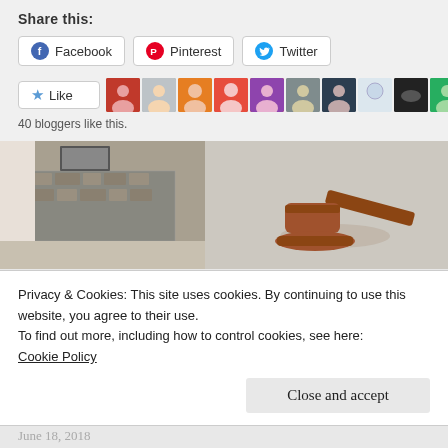Share this:
Facebook
Pinterest
Twitter
Like
40 bloggers like this.
[Figure (photo): Bathroom interior with stone tile wall]
[Figure (photo): Wooden judge gavel on light background]
Privacy & Cookies: This site uses cookies. By continuing to use this website, you agree to their use.
To find out more, including how to control cookies, see here:
Cookie Policy
Close and accept
June 18, 2018